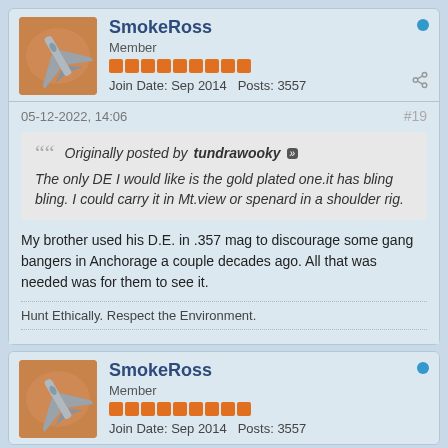SmokeRoss
Member
Join Date: Sep 2014   Posts: 3557
05-12-2022, 14:06
#19
Originally posted by tundrawooky »» The only DE I would like is the gold plated one.it has bling bling. I could carry it in Mt.view or spenard in a shoulder rig.
My brother used his D.E. in .357 mag to discourage some gang bangers in Anchorage a couple decades ago. All that was needed was for them to see it.
Hunt Ethically. Respect the Environment.
SmokeRoss
Member
Join Date: Sep 2014   Posts: 3557